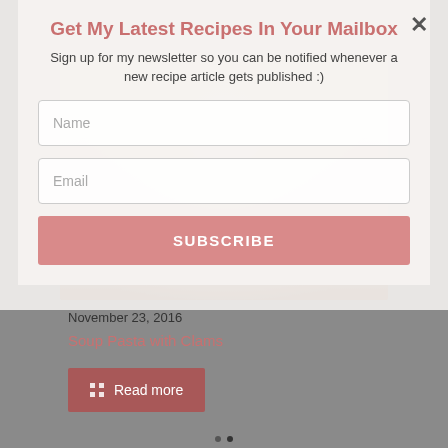Get My Latest Recipes In Your Mailbox
Sign up for my newsletter so you can be notified whenever a new recipe article gets published :)
[Figure (photo): Food photo of pasta with clams dish, partially visible behind the modal overlay]
Name
Email
SUBSCRIBE
November 23, 2016
Soup Pasta with Clams
Read more